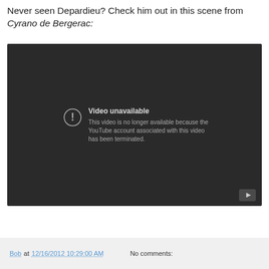Never seen Depardieu? Check him out in this scene from Cyrano de Bergerac:
[Figure (screenshot): YouTube video player showing 'Video unavailable' message. Text reads: 'This video is no longer available because the YouTube account associated with this video has been terminated.' Dark background with YouTube logo button in bottom right corner.]
Bob at 12/16/2012 10:29:00 AM   No comments: